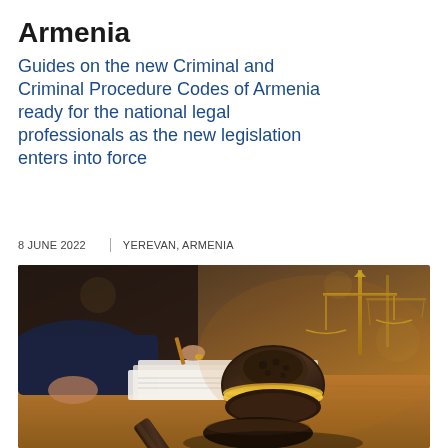Armenia
Guides on the new Criminal and Criminal Procedure Codes of Armenia ready for the national legal professionals as the new legislation enters into force
8 JUNE 2022   |   YEREVAN, ARMENIA
[Figure (photo): A judge's gavel resting on a wooden surface in the foreground, with a blurred background showing a person writing at a desk and gold-colored scales of justice.]